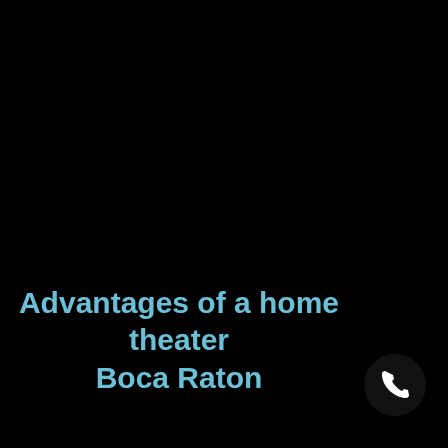Advantages of a home theater Boca Raton
[Figure (illustration): Phone call icon — white telephone handset on a black circular background, positioned bottom-right]